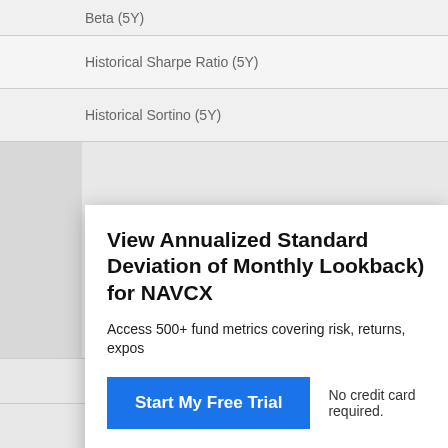Beta (5Y)
Historical Sharpe Ratio (5Y)
Historical Sortino (5Y)
View Annualized Standard Deviation of Monthly Lookback) for NAVCX
Access 500+ fund metrics covering risk, returns, exposú
Start My Free Trial
No credit card required.
Already a subscriber? Sign in.
How can muni bonds help during periods of high inflation? abrdn
Protect your enterprise with an operational risk analysis Truist Commercial